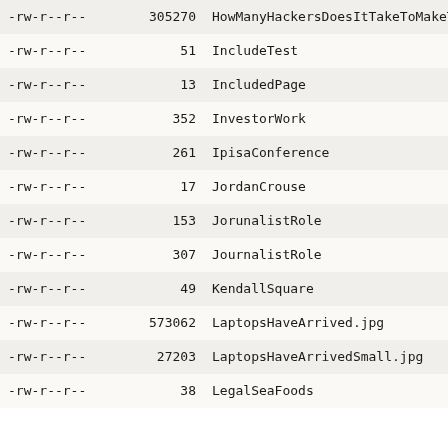| permissions | size | name |
| --- | --- | --- |
| -rw-r--r-- | 305270 | HowManyHackersDoesItTakeToMakeTheBlood |
| -rw-r--r-- | 51 | IncludeTest |
| -rw-r--r-- | 13 | IncludedPage |
| -rw-r--r-- | 352 | InvestorWork |
| -rw-r--r-- | 261 | IpisaConference |
| -rw-r--r-- | 17 | JordanCrouse |
| -rw-r--r-- | 153 | JorunalistRole |
| -rw-r--r-- | 307 | JournalistRole |
| -rw-r--r-- | 49 | KendallSquare |
| -rw-r--r-- | 573062 | LaptopsHaveArrived.jpg |
| -rw-r--r-- | 27203 | LaptopsHaveArrivedSmall.jpg |
| -rw-r--r-- | 38 | LegalSeaFoods |